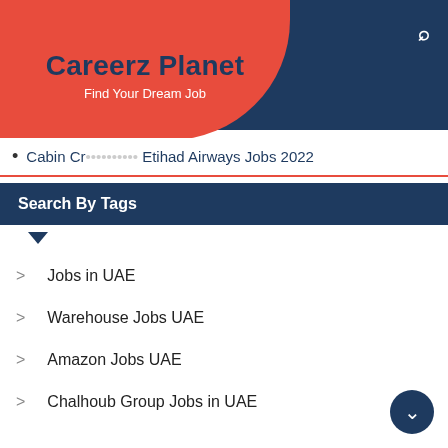Careeerz Planet – Find Your Dream Job
Cabin Crew ... Etihad Airways Jobs 2022
Search By Tags
Jobs in UAE
Warehouse Jobs UAE
Amazon Jobs UAE
Chalhoub Group Jobs in UAE
Al Futtaim Jobs in UAE
Adnoc Jobs in UAE
Driver Jobs in UAE